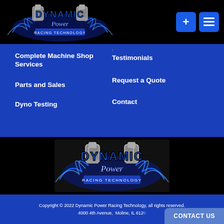[Figure (logo): Dynamic Power Racing Technology logo in header — chrome pistons, blue flames, blue metallic text on black background]
Complete Machine Shop Services
Parts and Sales
Dyno Testing
Testimonials
Request a Quote
Contact
[Figure (logo): Dynamic Power Racing Technology logo in footer — same chrome pistons and blue flames logo on dark background]
Copyright © 2022 Dynamic Power Racing Technology, all rights reserved.
4000 4th Avenue, Moline, IL 612...
CONTACT US